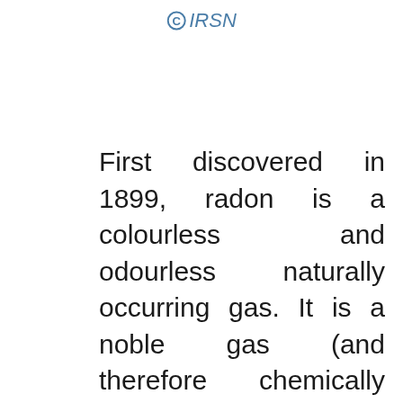©IRSN
First discovered in 1899, radon is a colourless and odourless naturally occurring gas. It is a noble gas (and therefore chemically inert) but can be dissolved in water. Generally, radon quickly spreads into the